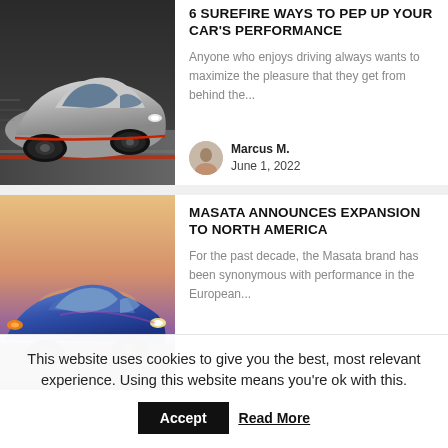[Figure (photo): Silver sports car (BMW-style) in motion on a road, photographed from the side]
6 SUREFIRE WAYS TO PEP UP YOUR CAR'S PERFORMANCE
Anyone who enjoys driving always wants to maximize the pleasure that they get from behind the...
Marcus M.
June 1, 2022
[Figure (photo): Blue sports car photographed at sunset/dusk, front-quarter view]
MASATA ANNOUNCES EXPANSION TO NORTH AMERICA
For the past decade, the Masata brand has been synonymous with performance in the European...
This website uses cookies to give you the best, most relevant experience. Using this website means you're ok with this.